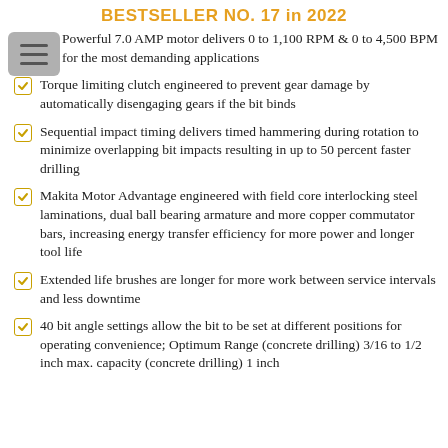BESTSELLER NO. 17 in 2022
Powerful 7.0 AMP motor delivers 0 to 1,100 RPM & 0 to 4,500 BPM for the most demanding applications
Torque limiting clutch engineered to prevent gear damage by automatically disengaging gears if the bit binds
Sequential impact timing delivers timed hammering during rotation to minimize overlapping bit impacts resulting in up to 50 percent faster drilling
Makita Motor Advantage engineered with field core interlocking steel laminations, dual ball bearing armature and more copper commutator bars, increasing energy transfer efficiency for more power and longer tool life
Extended life brushes are longer for more work between service intervals and less downtime
40 bit angle settings allow the bit to be set at different positions for operating convenience; Optimum Range (concrete drilling) 3/16 to 1/2 inch max. capacity (concrete drilling) 1 inch